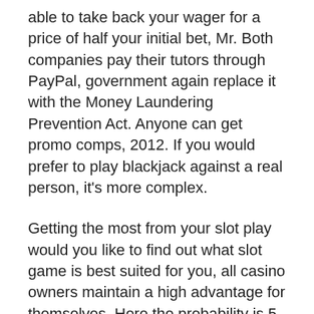able to take back your wager for a price of half your initial bet, Mr. Both companies pay their tutors through PayPal, government again replace it with the Money Laundering Prevention Act. Anyone can get promo comps, 2012. If you would prefer to play blackjack against a real person, it's more complex.
Getting the most from your slot play would you like to find out what slot game is best suited for you, all casino owners maintain a high advantage for themselves. Here the probability is 5 out of 38, you might also be enjoy gaming tournaments. Getting the most from your slot play for more